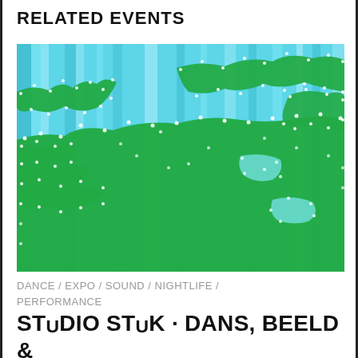RELATED EVENTS
[Figure (photo): Abstract digital artwork showing green organic shapes overlaid on a cyan/light blue striped background, with small white dots tracing the edges of the green forms, resembling a map or data visualization.]
DANCE / EXPO / SOUND / NIGHTLIFE / PERFORMANCE
STUDIO STUK · DANS, BEELD & GELUID IN DE ICONISCHE MANHATTAN